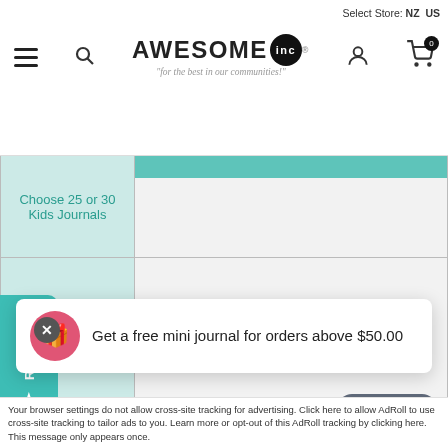Select Store: NZ US — AWESOME inc® — for the best in our communities!
| Product | SKU/Bundle |
| --- | --- |
| Choose 25 or 30 Kids Journals |  |
| Resilient Kids Toolkit – dle (age 5-12) | Bundle,KGJ07,AI001,AI003 |
| Gratitude Guide for ... |  |
Reviews ★
Get a free mini journal for orders above $50.00
Chat with us
Your browser settings do not allow cross-site tracking for advertising. Click here to allow AdRoll to use cross-site tracking to tailor ads to you. Learn more or opt-out of this AdRoll tracking by clicking here. This message only appears once.